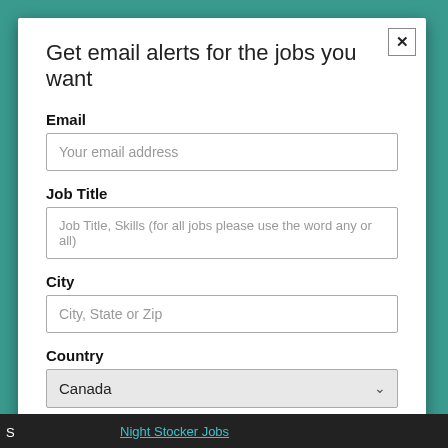Get email alerts for the jobs you want
Email
Your email address
Job Title
Job Title, Skills (for all jobs please use the word any or all)
City
City, State or Zip
Country
Canada
You can cancel email alerts at any time.
Subscribe
Night Stocker Jobs